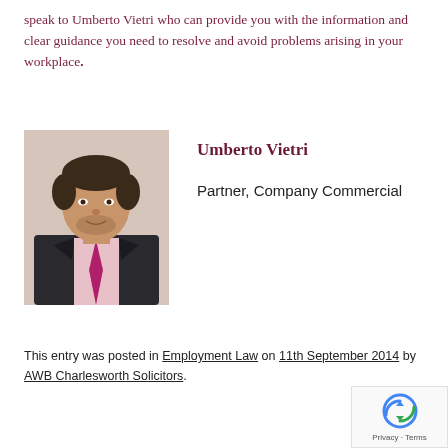speak to Umberto Vietri who can provide you with the information and clear guidance you need to resolve and avoid problems arising in your workplace.
[Figure (photo): Professional portrait photo of Umberto Vietri, a man in a dark suit with a pink shirt and magenta/purple tie, against a light background.]
Umberto Vietri
Partner, Company Commercial
This entry was posted in Employment Law on 11th September 2014 by AWB Charlesworth Solicitors.